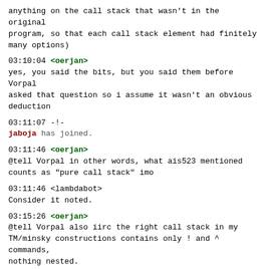anything on the call stack that wasn't in the original program, so that each call stack element had finitely many options)
03:10:04 <oerjan> yes, you said the bits, but you said them before Vorpal asked that question so i assume it wasn't an obvious deduction
03:11:07 -!- jaboja has joined.
03:11:46 <oerjan> @tell Vorpal in other words, what ais523 mentioned counts as "pure call stack" imo
03:11:46 <lambdabot> Consider it noted.
03:15:26 <oerjan> @tell Vorpal also iirc the right call stack in my TM/minsky constructions contains only ! and ^ commands, nothing nested.
03:15:26 <lambdabot> Consider it noted.
03:21:05 <oerjan> <ais523> subtle cough is sub-TC but it can't be far off <-- i thought about unlambda minimalization a bit, you need at least one of s and c for non-halting. i haven't found any TC subsets without s and k yet, though.